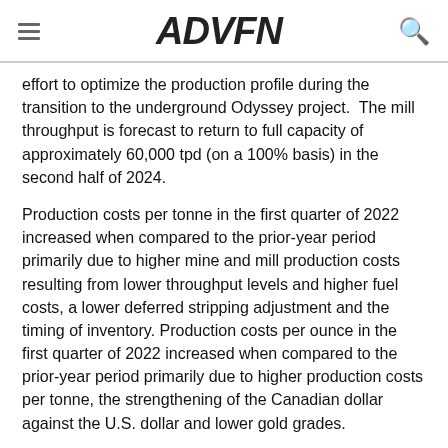ADVFN
effort to optimize the production profile during the transition to the underground Odyssey project.  The mill throughput is forecast to return to full capacity of approximately 60,000 tpd (on a 100% basis) in the second half of 2024.
Production costs per tonne in the first quarter of 2022 increased when compared to the prior-year period primarily due to higher mine and mill production costs resulting from lower throughput levels and higher fuel costs, a lower deferred stripping adjustment and the timing of inventory. Production costs per ounce in the first quarter of 2022 increased when compared to the prior-year period primarily due to higher production costs per tonne, the strengthening of the Canadian dollar against the U.S. dollar and lower gold grades.
Minesite costs per tonne in the first quarter of 2022